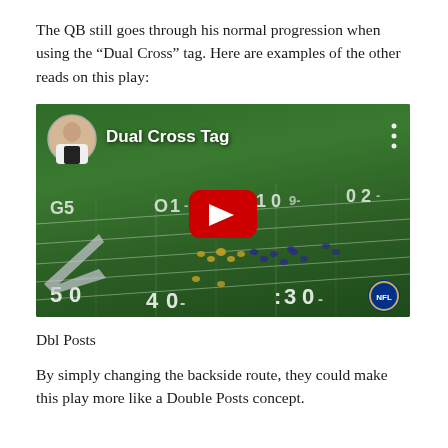The QB still goes through his normal progression when using the “Dual Cross” tag. Here are examples of the other reads on this play:
[Figure (screenshot): YouTube video thumbnail showing an aerial view of a football field with players, featuring the text 'Dual Cross Tag' and a YouTube play button in the center. The Philadelphia Eagles logo is visible on the field. Yard markers show 50, 40, 30, 20.]
Dbl Posts
By simply changing the backside route, they could make this play more like a Double Posts concept.